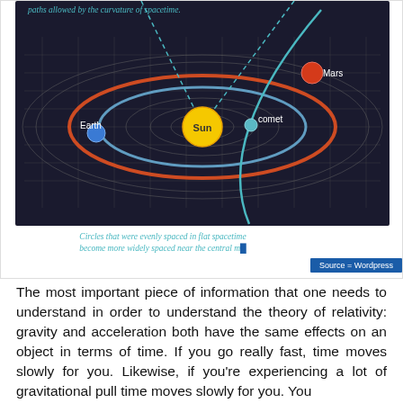[Figure (illustration): Scientific diagram showing curved spacetime with the Sun at center, Earth and Mars in elliptical orbits (orange ring), a comet on a curved trajectory (teal line), and concentric grid circles representing spacetime curvature on a dark background. Labels for Mars, Earth, Sun, comet are shown. A dashed teal line from top indicates paths allowed by the curvature of spacetime. Caption at bottom reads: Circles that were evenly spaced in flat spacetime become more widely spaced near the central m... Source = Wordpress badge.]
paths allowed by the curvature of spacetime.
Circles that were evenly spaced in flat spacetime become more widely spaced near the central m...
The most important piece of information that one needs to understand in order to understand the theory of relativity: gravity and acceleration both have the same effects on an object in terms of time. If you go really fast, time moves slowly for you. Likewise, if you're experiencing a lot of gravitational pull time moves slowly for you. You